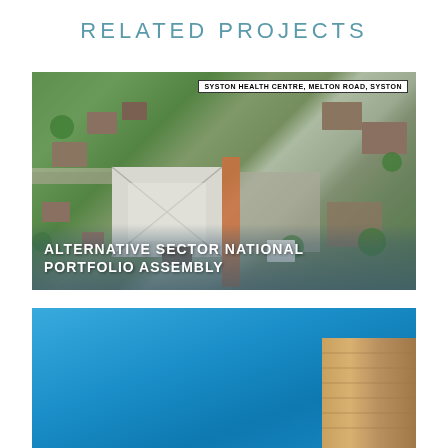RELATED PROJECTS
[Figure (photo): Aerial/satellite view of Syston Health Centre, Melton Road, Syston, showing rooftops, roads, parking areas and surrounding suburban landscape]
ALTERNATIVE SECTOR NATIONAL PORTFOLIO ASSEMBLY
[Figure (photo): Photograph of a building with blue sky background and timber/wood cladding visible at bottom right]